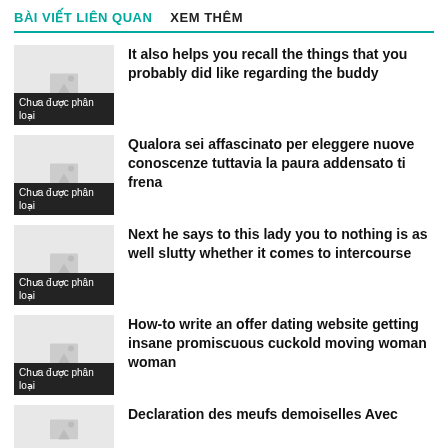BÀI VIẾT LIÊN QUAN   XEM THÊM
It also helps you recall the things that you probably did like regarding the buddy
Qualora sei affascinato per eleggere nuove conoscenze tuttavia la paura addensato ti frena
Next he says to this lady you to nothing is as well slutty whether it comes to intercourse
How-to write an offer dating website getting insane promiscuous cuckold moving woman woman
Declaration des meufs demoiselles Avec…